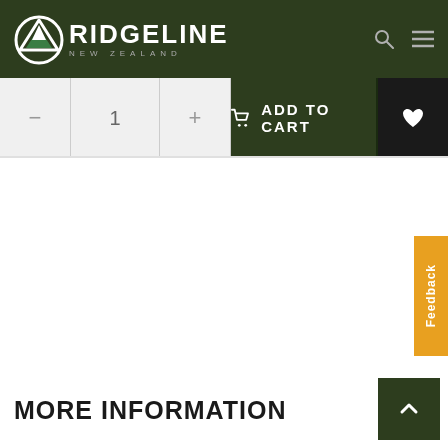Ridgeline New Zealand
[Figure (screenshot): Ridgeline New Zealand logo with mountain/chevron icon in white and green on dark olive green background header bar. Search icon and hamburger menu icon on right side.]
[Figure (screenshot): Add to cart controls row: minus button, quantity=1, plus button, ADD TO CART button in dark green, heart/wishlist button in black.]
[Figure (screenshot): Feedback tab on right side in orange color with vertical text reading Feedback.]
MORE INFORMATION
[Figure (screenshot): Scroll to top arrow button in dark green at bottom right.]